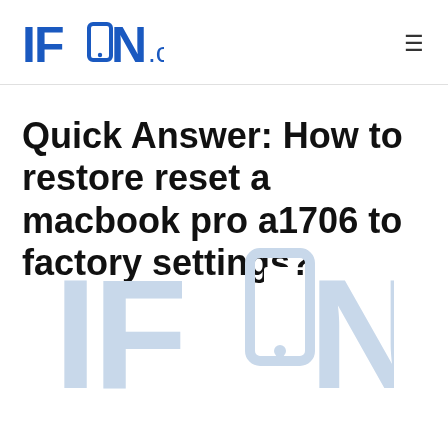IFON.ca
Quick Answer: How to restore reset a macbook pro a1706 to factory settings?
[Figure (logo): IFON.ca watermark logo in light gray, centered in lower half of page]